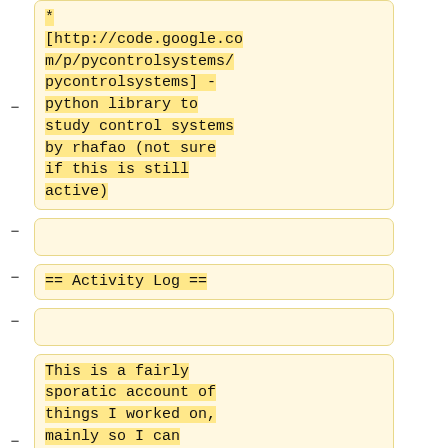* [http://code.google.com/p/pycontrolsystems/pycontrolsystems] - python library to study control systems by rhafao (not sure if this is still active)
== Activity Log ==
This is a fairly sporatic account of things I worked on, mainly so I can document problems that I came up against.